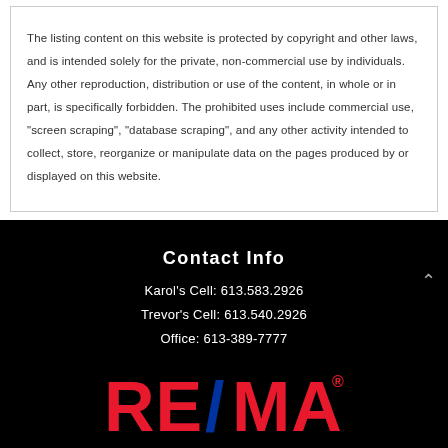The listing content on this website is protected by copyright and other laws, and is intended solely for the private, non-commercial use by individuals. Any other reproduction, distribution or use of the content, in whole or in part, is specifically forbidden. The prohibited uses include commercial use, "screen scraping", "database scraping", and any other activity intended to collect, store, reorganize or manipulate data on the pages produced by or displayed on this website.
Contact Info
Karol's Cell: 613.583.2926
Trevor's Cell: 613.540.2926
Office: 613-389-7777
[Figure (logo): RE/MAX logo in red and blue on black background]